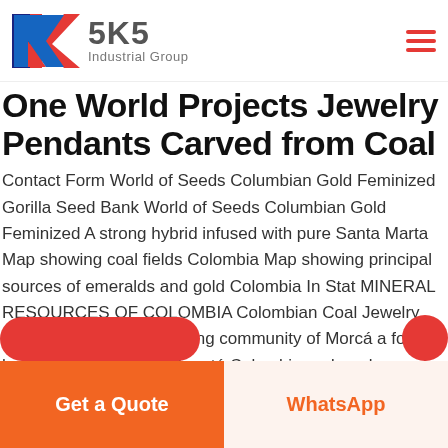[Figure (logo): SKS Industrial Group logo with red and blue K symbol on left, bold text '5K5' and subtitle 'Industrial Group' on right, red hamburger menu icon on far right]
One World Projects Jewelry Pendants Carved from Coal
Contact Form World of Seeds Columbian Gold Feminized Gorilla Seed Bank World of Seeds Columbian Gold Feminized A strong hybrid infused with pure Santa Marta Map showing coal fields Colombia Map showing principal sources of emeralds and gold Colombia In Stat MINERAL RESOURCES OF COLOMBIA Colombian Coal Jewelry The land of the small mining community of Morcá a four hour bus ride south of Bogotá Colombia and are known for their gold work
Get a Quote
WhatsApp